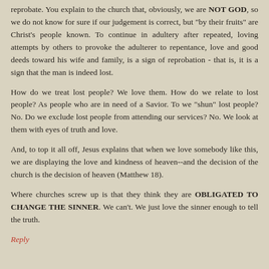reprobate. You explain to the church that, obviously, we are NOT GOD, so we do not know for sure if our judgement is correct, but "by their fruits" are Christ's people known. To continue in adultery after repeated, loving attempts by others to provoke the adulterer to repentance, love and good deeds toward his wife and family, is a sign of reprobation - that is, it is a sign that the man is indeed lost.
How do we treat lost people? We love them. How do we relate to lost people? As people who are in need of a Savior. To we "shun" lost people? No. Do we exclude lost people from attending our services? No. We look at them with eyes of truth and love.
And, to top it all off, Jesus explains that when we love somebody like this, we are displaying the love and kindness of heaven--and the decision of the church is the decision of heaven (Matthew 18).
Where churches screw up is that they think they are OBLIGATED TO CHANGE THE SINNER. We can't. We just love the sinner enough to tell the truth.
Reply